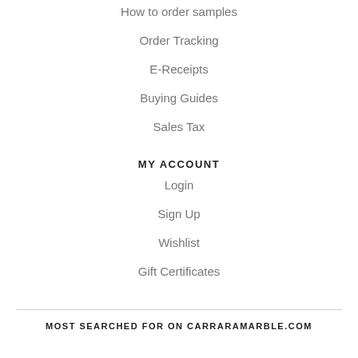How to order samples
Order Tracking
E-Receipts
Buying Guides
Sales Tax
MY ACCOUNT
Login
Sign Up
Wishlist
Gift Certificates
MOST SEARCHED FOR ON CARRARAMARBLE.COM